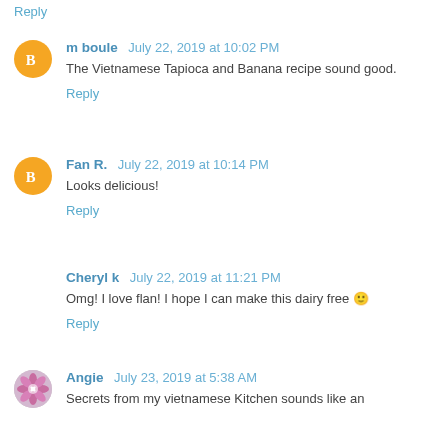Reply
m boule  July 22, 2019 at 10:02 PM
The Vietnamese Tapioca and Banana recipe sound good.
Reply
Fan R.  July 22, 2019 at 10:14 PM
Looks delicious!
Reply
Cheryl k  July 22, 2019 at 11:21 PM
Omg! I love flan! I hope I can make this dairy free 🙂
Reply
Angie  July 23, 2019 at 5:38 AM
Secrets from my vietnamese Kitchen sounds like an